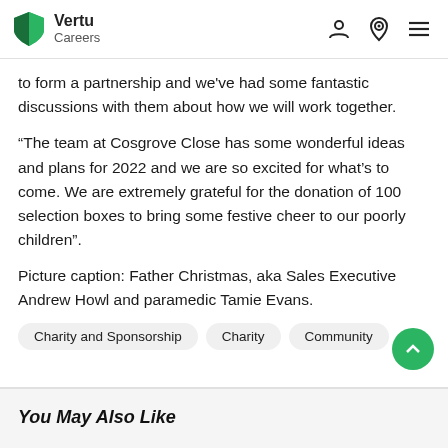Vertu Careers
to form a partnership and we've had some fantastic discussions with them about how we will work together.
“The team at Cosgrove Close has some wonderful ideas and plans for 2022 and we are so excited for what’s to come. We are extremely grateful for the donation of 100 selection boxes to bring some festive cheer to our poorly children”.
Picture caption: Father Christmas, aka Sales Executive Andrew Howl and paramedic Tamie Evans.
Charity and Sponsorship
Charity
Community
You May Also Like